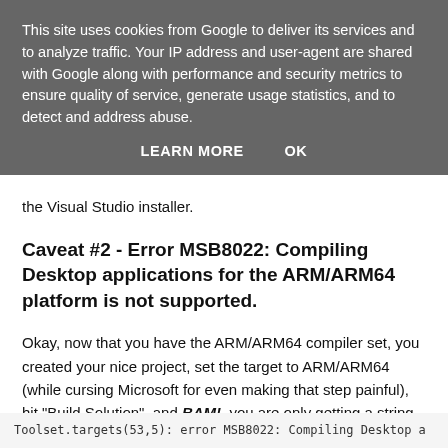This site uses cookies from Google to deliver its services and to analyze traffic. Your IP address and user-agent are shared with Google along with performance and security metrics to ensure quality of service, generate usage statistics, and to detect and address abuse.
LEARN MORE   OK
the Visual Studio installer.
Caveat #2 - Error MSB8022: Compiling Desktop applications for the ARM/ARM64 platform is not supported.
Okay, now that you have the ARM/ARM64 compiler set, you created your nice project, set the target to ARM/ARM64 (while cursing Microsoft for even making that step painful), hit "Build Solution", and BAM!, you are only getting a string of:
Toolset.targets(53,5): error MSB8022: Compiling Desktop a